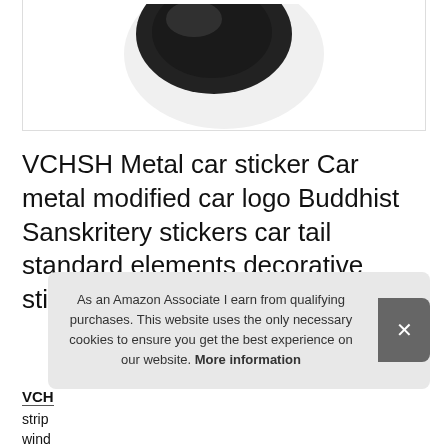[Figure (photo): Partial view of a dark circular metal car badge/sticker on a light background]
VCHSH Metal car sticker Car metal modified car logo Buddhist Sanskritery stickers car tail standard elements decorative stickers Car badge Color : 4
As an Amazon Associate I earn from qualifying purchases. This website uses the only necessary cookies to ensure you get the best experience on our website. More information
VCH strip wind